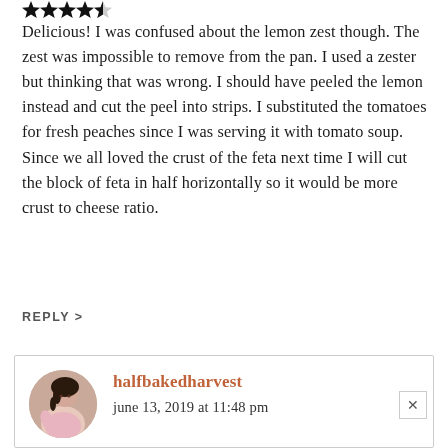[Figure (illustration): Four stars rating (out of five), with the last star partially filled, shown as black star icons at the top of the review.]
Delicious! I was confused about the lemon zest though. The zest was impossible to remove from the pan. I used a zester but thinking that was wrong. I should have peeled the lemon instead and cut the peel into strips. I substituted the tomatoes for fresh peaches since I was serving it with tomato soup. Since we all loved the crust of the feta next time I will cut the block of feta in half horizontally so it would be more crust to cheese ratio.
REPLY >
halfbakedharvest
june 13, 2019 at 11:48 pm
Hey Anne! I am so sorry. I should have specified what kind of lemon zest to use. Recipe all fixed! And the peaches sound amazing! YUMMM!